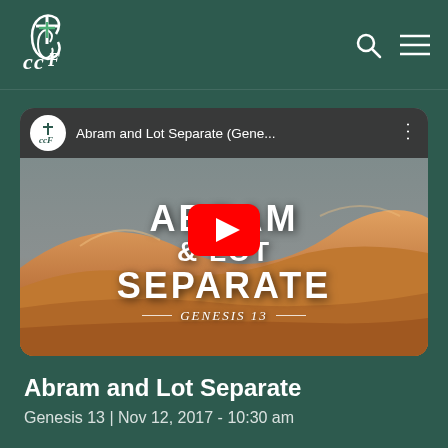CCF logo navigation bar with search and menu icons
[Figure (screenshot): YouTube video thumbnail for 'Abram and Lot Separate (Gene...)' showing desert sand dunes with large white text overlay reading 'ABRAM & LOT SEPARATE GENESIS 13' and a YouTube play button in the center. Channel icon shows CCF logo.]
Abram and Lot Separate
Genesis 13  |  Nov 12, 2017 - 10:30 am